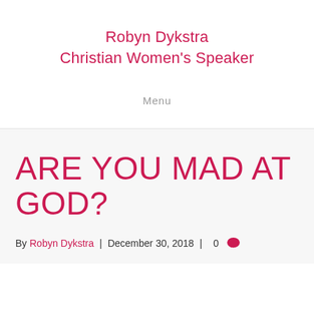Robyn Dykstra
Christian Women's Speaker
Menu
ARE YOU MAD AT GOD?
By Robyn Dykstra | December 30, 2018 | 0